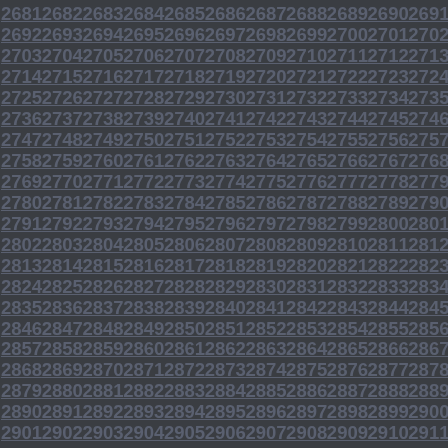2681 2682 2683 2684 2685 2686 2687 2688 2689 2690 2691 2692 2693 2694 2695 2696 2697 2698 2699 2700 2701 2702 2703 2704 2705 2706 2707 2708 2709 2710 2711 2712 2713 2714 2715 2716 2717 2718 2719 2720 2721 2722 2723 2724 2725 2726 2727 2728 2729 2730 2731 2732 2733 2734 2735 2736 2737 2738 2739 2740 2741 2742 2743 2744 2745 2746 2747 2748 2749 2750 2751 2752 2753 2754 2755 2756 2757 2758 2759 2760 2761 2762 2763 2764 2765 2766 2767 2768 2769 2770 2771 2772 2773 2774 2775 2776 2777 2778 2779 2780 2781 2782 2783 2784 2785 2786 2787 2788 2789 2790 2791 2792 2793 2794 2795 2796 2797 2798 2799 2800 2801 2802 2803 2804 2805 2806 2807 2808 2809 2810 2811 2812 2813 2814 2815 2816 2817 2818 2819 2820 2821 2822 2823 2824 2825 2826 2827 2828 2829 2830 2831 2832 2833 2834 2835 2836 2837 2838 2839 2840 2841 2842 2843 2844 2845 2846 2847 2848 2849 2850 2851 2852 2853 2854 2855 2856 2857 2858 2859 2860 2861 2862 2863 2864 2865 2866 2867 2868 2869 2870 2871 2872 2873 2874 2875 2876 2877 2878 2879 2880 2881 2882 2883 2884 2885 2886 2887 2888 2889 2890 2891 2892 2893 2894 2895 2896 2897 2898 2899 2900 2901 2902 2903 2904 2905 2906 2907 2908 2909 2910 2911